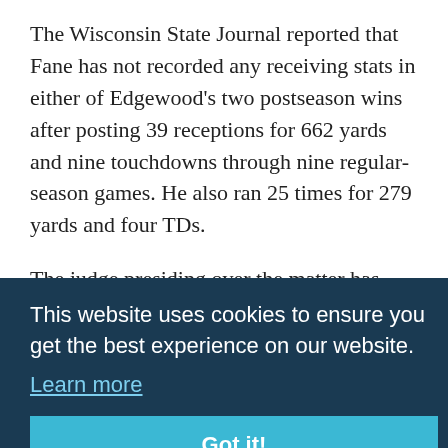The Wisconsin State Journal reported that Fane has not recorded any receiving stats in either of Edgewood's two postseason wins after posting 39 receptions for 662 yards and nine touchdowns through nine regular-season games. He also ran 25 times for 279 yards and four TDs.
The judge presiding over the matter has agreed to hold a hearing at 9:30 a.m. Friday in hopes that it will be able to continue to compete in the state playoffs.
This website uses cookies to ensure you get the best experience on our website. Learn more
Got it!
For its part, the WIAA says that Edgewood received one type of eligibility waiver for Fane but failed to seek the type of waiver that would have extended Fane's eligibility beyond four years.
ADVERTISEMENT